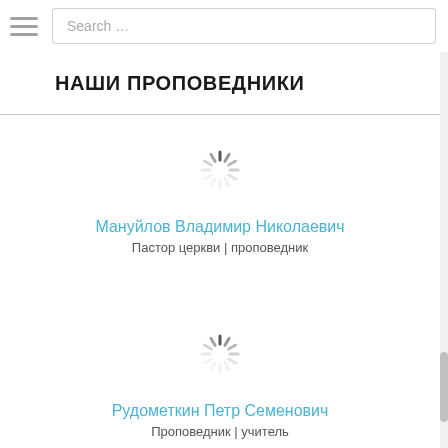Search …
НАШИ ПРОПОВЕДНИКИ
[Figure (other): Loading spinner (animated circle indicator)]
Мануйлов Владимир Николаевич
Пастор церкви | проповедник
[Figure (other): Loading spinner (animated circle indicator)]
Рудометкин Петр Семенович
Проповедник | учитель